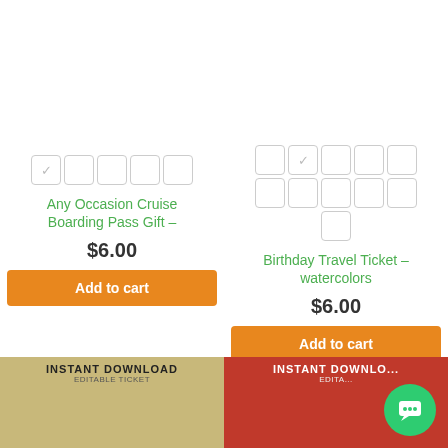[Figure (screenshot): Star rating boxes for left product - 5 boxes in one row, first checked]
Any Occasion Cruise Boarding Pass Gift –
$6.00
Add to cart
[Figure (screenshot): Star rating boxes for right product - 6 boxes in first row, 5 in second row, second box checked]
Birthday Travel Ticket – watercolors
$6.00
Add to cart
[Figure (screenshot): Thumbnail showing instant download editable ticket on beige/wood background]
[Figure (screenshot): Thumbnail showing instant download editable ticket on red background]